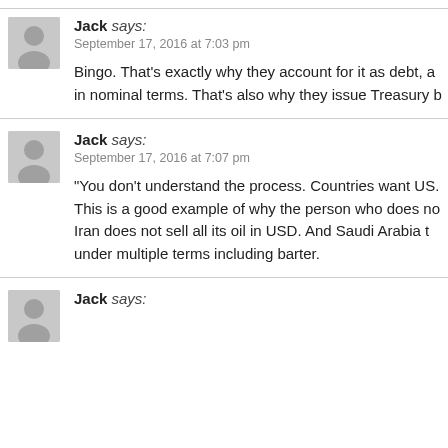Jack says: September 17, 2016 at 7:03 pm
Bingo. That’s exactly why they account for it as debt, a in nominal terms. That’s also why they issue Treasury b
Jack says: September 17, 2016 at 7:07 pm
“You don’t understand the process. Countries want US. This is a good example of why the person who does no Iran does not sell all its oil in USD. And Saudi Arabia t under multiple terms including barter.
Jack says: